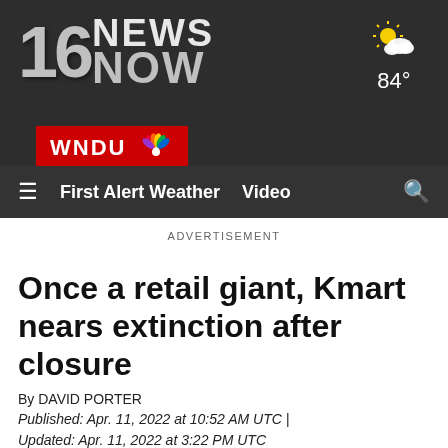[Figure (logo): 16 NEWS NOW WNDU NBC affiliate logo on dark background]
[Figure (other): Partly cloudy weather icon with sun, showing 84 degrees]
≡  First Alert Weather  Video  🔍
ADVERTISEMENT
Once a retail giant, Kmart nears extinction after closure
By DAVID PORTER
Published: Apr. 11, 2022 at 10:52 AM UTC  |  Updated: Apr. 11, 2022 at 3:22 PM UTC
[Figure (other): Social media share icons: Facebook, Email, Twitter, Pinterest, LinkedIn]